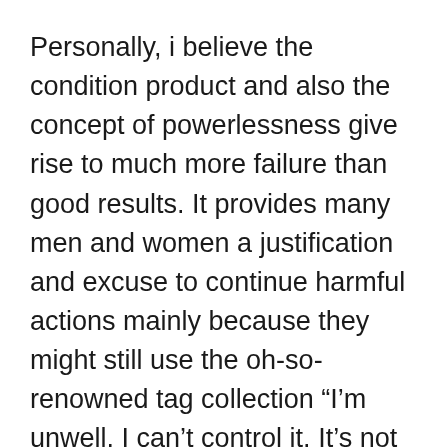Personally, i believe the condition product and also the concept of powerlessness give rise to much more failure than good results. It provides many men and women a justification and excuse to continue harmful actions mainly because they might still use the oh-so-renowned tag collection “I’m unwell. I can’t control it. It’s not my fault”.
Profitable choice treatment solutions market the idea that habit is the effect of selections and may basically be remedied by making new, healthier options. This seems to work for people who can’t find a devote 12 phase plans